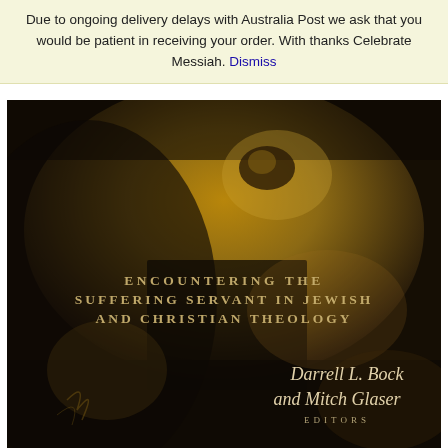Due to ongoing delivery delays with Australia Post we ask that you would be patient in receiving your order. With thanks Celebrate Messiah. Dismiss
[Figure (photo): Book cover of 'Encountering the Suffering Servant in Jewish and Christian Theology' edited by Darrell L. Bock and Mitch Glaser. Dark sepia-toned image of a face, with book title in spaced serif caps and authors' names in italic serif font at bottom right. 'EDITORS' appears below the authors' names in small caps.]